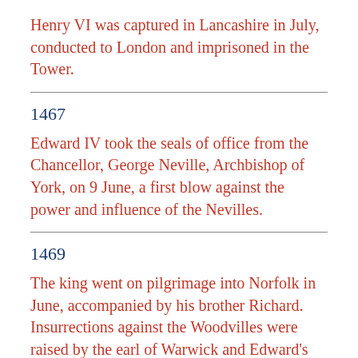Henry VI was captured in Lancashire in July, conducted to London and imprisoned in the Tower.
1467
Edward IV took the seals of office from the Chancellor, George Neville, Archbishop of York, on 9 June, a first blow against the power and influence of the Nevilles.
1469
The king went on pilgrimage into Norfolk in June, accompanied by his brother Richard. Insurrections against the Woodvilles were raised by the earl of Warwick and Edward’s brother Clarence. On 11 July Clarence married Isabel Neville, daughter of the earl of Warwick against the wishes of his brother. On 26 July the king’s troops were defeated at Edgecote, near